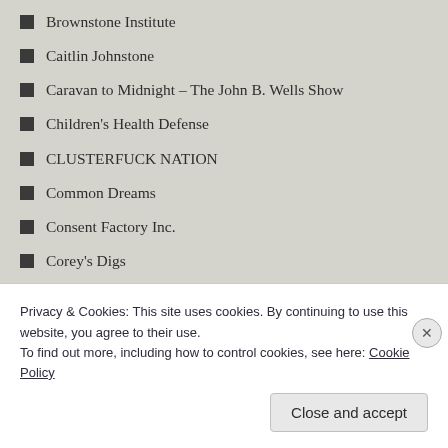Brownstone Institute
Caitlin Johnstone
Caravan to Midnight – The John B. Wells Show
Children's Health Defense
CLUSTERFUCK NATION
Common Dreams
Consent Factory Inc.
Corey's Digs
Dave Hodges – The Common Sense Show
Dollar Collapse
Edward Slayoqut
Privacy & Cookies: This site uses cookies. By continuing to use this website, you agree to their use.
To find out more, including how to control cookies, see here: Cookie Policy
Close and accept